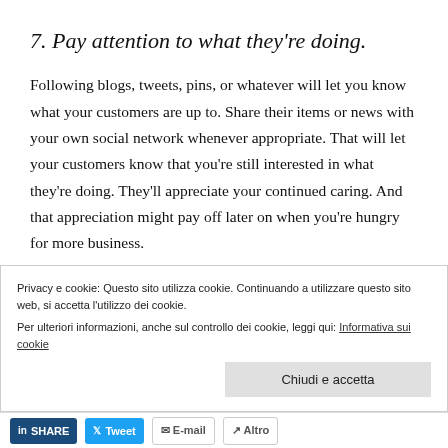7. Pay attention to what they're doing.
Following blogs, tweets, pins, or whatever will let you know what your customers are up to. Share their items or news with your own social network whenever appropriate. That will let your customers know that you're still interested in what they're doing. They'll appreciate your continued caring. And that appreciation might pay off later on when you're hungry for more business.
Privacy e cookie: Questo sito utilizza cookie. Continuando a utilizzare questo sito web, si accetta l'utilizzo dei cookie.
Per ulteriori informazioni, anche sul controllo dei cookie, leggi qui: Informativa sui cookie
Chiudi e accetta
SHARE  Tweet  E-mail  Altro